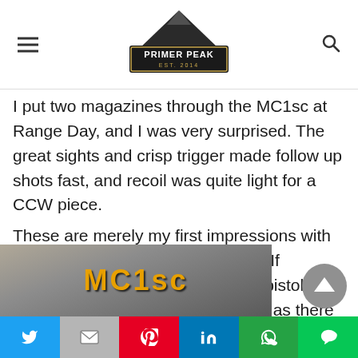PRIMER PEAK — EST. 2014
I put two magazines through the MC1sc at Range Day, and I was very surprised. The great sights and crisp trigger made follow up shots fast, and recoil was quite light for a CCW piece.
These are merely my first impressions with the MC1sc, not any sort of review. If Mossberg can make and ship the pistols, I think that they will be a hit, as long as there are no production hiccups.
[Figure (photo): Partial photo showing MC1sc text/logo on a dark background]
Social share bar: Twitter, Gmail/Mail, Pinterest, LinkedIn, WhatsApp, Line